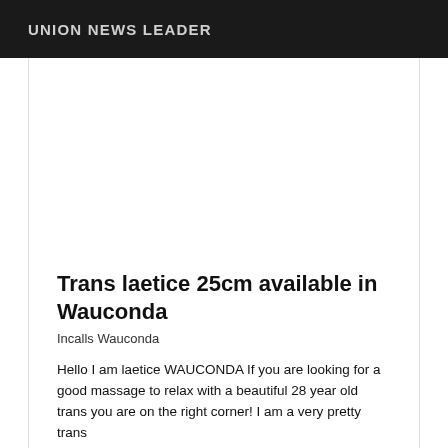UNION NEWS LEADER
[Figure (other): Advertisement area (blank white space)]
Trans laetice 25cm available in Wauconda
Incalls Wauconda
Hello I am laetice WAUCONDA If you are looking for a good massage to relax with a beautiful 28 year old trans you are on the right corner! I am a very pretty trans